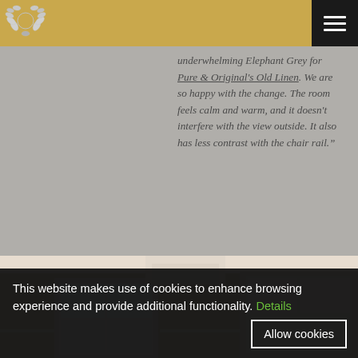[Figure (logo): Laurel wreath logo in white/silver on gold background]
[Figure (other): Hamburger menu icon (three horizontal white lines) on dark background]
underwhelming Elephant Grey for Pure & Original's Old Linen. We are so happy with the change. The room feels calm and warm, and it doesn't interfere with the view outside. It also has less contrast with the chair rail.”
[Figure (photo): Interior room photo showing windows, chair rail, and neutral warm wall color]
This website makes use of cookies to enhance browsing experience and provide additional functionality. Details
Allow cookies